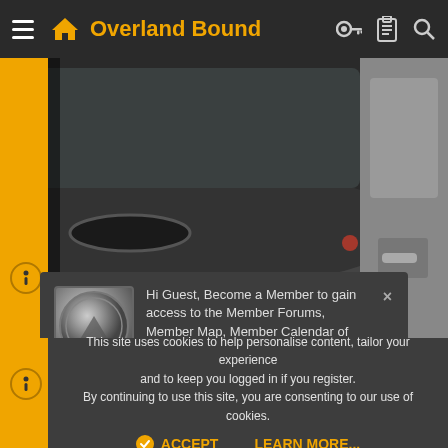Overland Bound
[Figure (screenshot): Car interior photo background showing dashboard and door panel]
Hi Guest, Become a Member to gain access to the Member Forums, Member Map, Member Calendar of Events, and Rally Point overland trip planner! Click this link LEARN MORE for more information!
This site uses cookies to help personalise content, tailor your experience and to keep you logged in if you register. By continuing to use this site, you are consenting to our use of cookies.
ACCEPT    LEARN MORE...